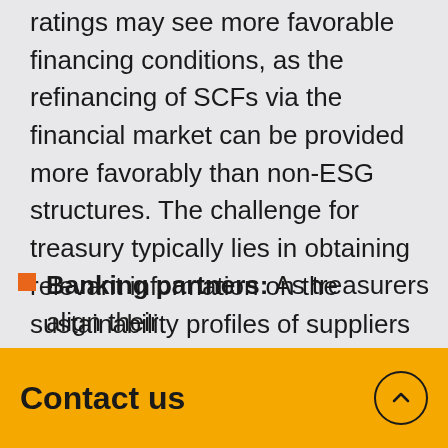ratings may see more favorable financing conditions, as the refinancing of SCFs via the financial market can be provided more favorably than non-ESG structures. The challenge for treasury typically lies in obtaining relevant information on the sustainability profiles of suppliers in order to match requirements of the SCF programs. Treasurers should work closely with their supply chain teams to address this challenge and support the broader SCF program.
Banking partners: As treasurers align their
Contact us